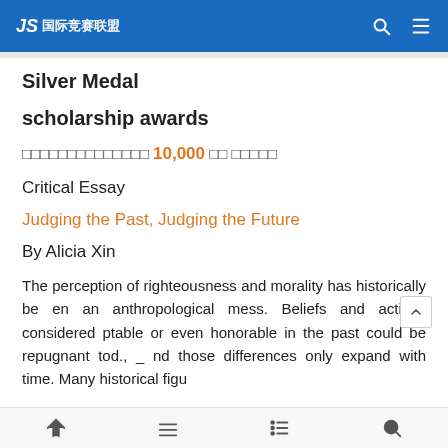JS 国际竞赛联盟
Silver Medal
scholarship awards
□□□□□□□□□□□□□□ 10,000 □□ □□□□□
Critical Essay
Judging the Past, Judging the Future
By Alicia Xin
The perception of righteousness and morality has historically been an anthropological mess. Beliefs and actions considered ptable or even honorable in the past could be repugnant tod., _ nd those differences only expand with time. Many historical figu
Navigation icons